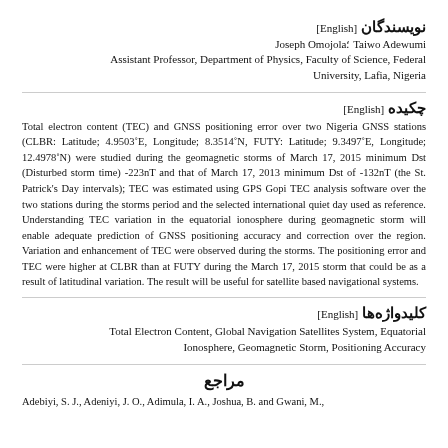نویسندگان [English]
Joseph Omojola; Taiwo Adewumi
Assistant Professor, Department of Physics, Faculty of Science, Federal University, Lafia, Nigeria
چکیده [English]
Total electron content (TEC) and GNSS positioning error over two Nigeria GNSS stations (CLBR: Latitude; 4.9503°E, Longitude; 8.3514°N, FUTY: Latitude; 9.3497°E, Longitude; 12.4978°N) were studied during the geomagnetic storms of March 17, 2015 minimum Dst (Disturbed storm time) -223nT and that of March 17, 2013 minimum Dst of -132nT (the St. Patrick's Day intervals); TEC was estimated using GPS Gopi TEC analysis software over the two stations during the storms period and the selected international quiet day used as reference. Understanding TEC variation in the equatorial ionosphere during geomagnetic storm will enable adequate prediction of GNSS positioning accuracy and correction over the region. Variation and enhancement of TEC were observed during the storms. The positioning error and TEC were higher at CLBR than at FUTY during the March 17, 2015 storm that could be as a result of latitudinal variation. The result will be useful for satellite based navigational systems.
کلیدواژه‌ها [English]
Total Electron Content, Global Navigation Satellites System, Equatorial Ionosphere, Geomagnetic Storm, Positioning Accuracy
مراجع
Adebiyi, S. J., Adeniyi, J. O., Adimula, I. A., Joshua, B. and Gwani, M.,